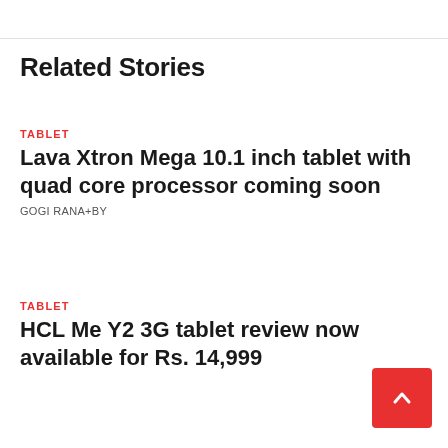Related Stories
TABLET
Lava Xtron Mega 10.1 inch tablet with quad core processor coming soon
GOGI RANA+BY
TABLET
HCL Me Y2 3G tablet review now available for Rs. 14,999